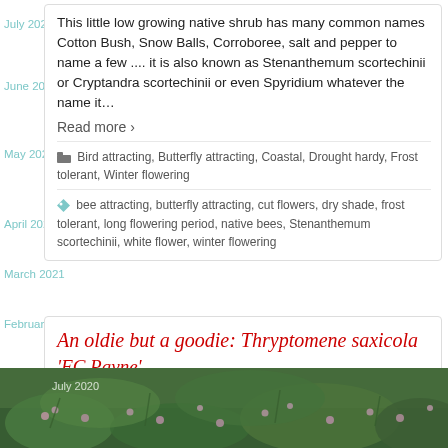This little low growing native shrub has many common names Cotton Bush, Snow Balls, Corroboree, salt and pepper to name a few .... it is also known as Stenanthemum scortechinii or Cryptandra scortechinii or even Spyridium whatever the name it…
Read more ›
Bird attracting, Butterfly attracting, Coastal, Drought hardy, Frost tolerant, Winter flowering
bee attracting, butterfly attracting, cut flowers, dry shade, frost tolerant, long flowering period, native bees, Stenanthemum scortechinii, white flower, winter flowering
An oldie but a goodie: Thryptomene saxicola 'FC Payne'
[Figure (photo): Photo of small pink flowers on green shrub branches, Thryptomene saxicola plant]